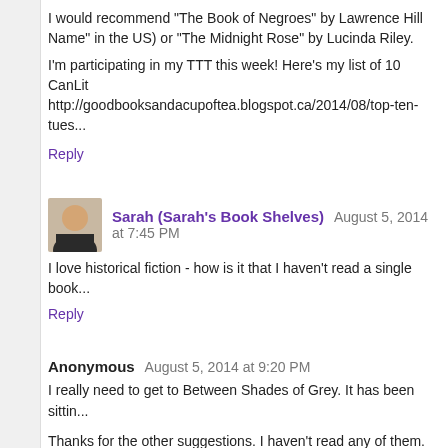I would recommend "The Book of Negroes" by Lawrence Hill (published as "Someone Knows My Name" in the US) or "The Midnight Rose" by Lucinda Riley.
I'm participating in my TTT this week! Here's my list of 10 CanLit http://goodbooksandacupoftea.blogspot.ca/2014/08/top-ten-tues...
Reply
Sarah (Sarah's Book Shelves) August 5, 2014 at 7:45 PM
I love historical fiction - how is it that I haven't read a single book...
Reply
Anonymous August 5, 2014 at 9:20 PM
I really need to get to Between Shades of Grey. It has been sittin...
Thanks for the other suggestions. I haven't read any of them. I... historical fiction reading.
Reply
Unknown August 5, 2014 at 10:27 PM